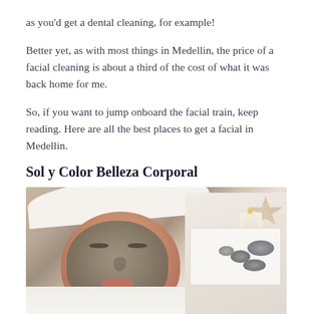as you'd get a dental cleaning, for example!
Better yet, as with most things in Medellin, the price of a facial cleaning is about a third of the cost of what it was back home for me.
So, if you want to jump onboard the facial train, keep reading. Here are all the best places to get a facial in Medellin.
Sol y Color Belleza Corporal
[Figure (photo): A person lying down with a grey clay face mask applied, wearing a white towel on their head. On the right side of the image, a spa tray with smooth stones, a candle, and a decorative starfish is visible. White sheets are visible in the background.]